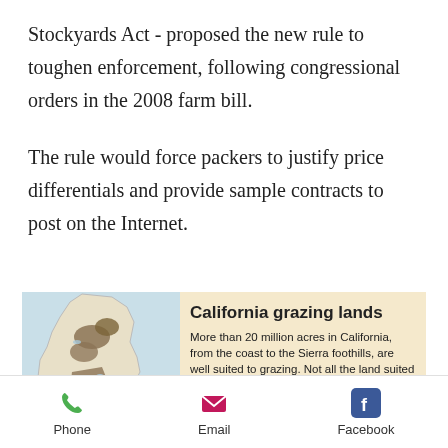Stockyards Act - proposed the new rule to toughen enforcement, following congressional orders in the 2008 farm bill.
The rule would force packers to justify price differentials and provide sample contracts to post on the Internet.
[Figure (map): Map of California showing grazing lands highlighted in brown/olive, with blue water features. Label 'Vioa' visible at bottom left.]
California grazing lands
More than 20 million acres in California, from the coast to the Sierra foothills, are well suited to grazing. Not all the land suited to
Phone    Email    Facebook